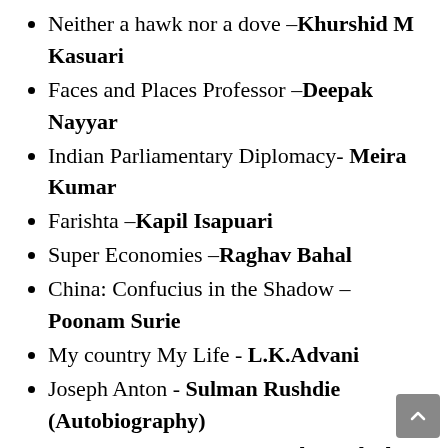Neither a hawk nor a dove –Khurshid M Kasuari
Faces and Places Professor –Deepak Nayyar
Indian Parliamentary Diplomacy- Meira Kumar
Farishta –Kapil Isapuari
Super Economies –Raghav Bahal
China: Confucius in the Shadow – Poonam Surie
My country My Life - L.K.Advani
Joseph Anton - Sulman Rushdie (Autobiography)
The Sahara Testaments - Tade Ipadeola
Narendra Modi: A Political Biography – Andy Marino
My Unforgettable Memories - Mamata